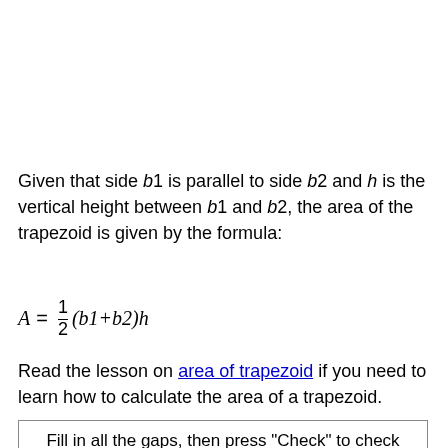Given that side b1 is parallel to side b2 and h is the vertical height between b1 and b2, the area of the trapezoid is given by the formula:
Read the lesson on area of trapezoid if you need to learn how to calculate the area of a trapezoid.
Fill in all the gaps, then press "Check" to check your answers. Use the "Hint" button to get a free letter if an answer is giving you trouble. You can also click on the "